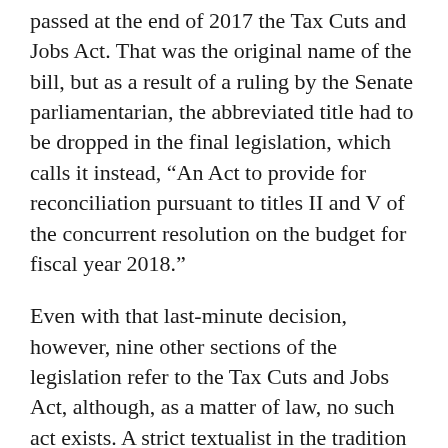passed at the end of 2017 the Tax Cuts and Jobs Act. That was the original name of the bill, but as a result of a ruling by the Senate parliamentarian, the abbreviated title had to be dropped in the final legislation, which calls it instead, “An Act to provide for reconciliation pursuant to titles II and V of the concurrent resolution on the budget for fiscal year 2018.”
Even with that last-minute decision, however, nine other sections of the legislation refer to the Tax Cuts and Jobs Act, although, as a matter of law, no such act exists. A strict textualist in the tradition of Justice Antonin Scalia might rule that such provisions are void. This is just the sort of literal reading that conservatives have used in asking the courts to strike down sections of the Affordable Care Act or the entire law.